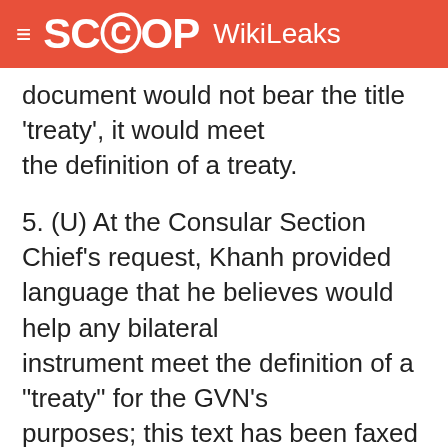SCOOP WikiLeaks
document would not bear the title 'treaty', it would meet the definition of a treaty.
5. (U) At the Consular Section Chief's request, Khanh provided language that he believes would help any bilateral instrument meet the definition of a "treaty" for the GVN's purposes; this text has been faxed to CA/OCS/CI. He told ConOff that any document must be signed at the appropriate level (state, not governmental or ministerial), must